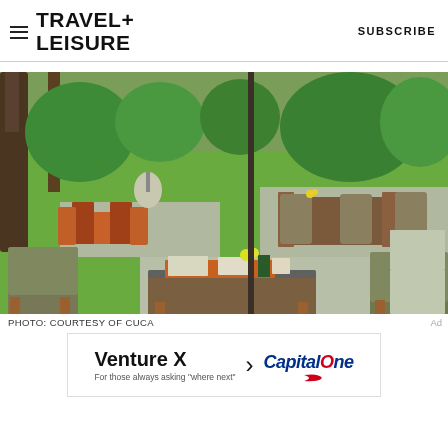TRAVEL+ LEISURE    SUBSCRIBE
[Figure (photo): Outdoor restaurant dining area with wicker and wood furniture, glass-top tables set with dishes and yellow flowers, surrounded by lush green lawn and tropical garden with palm trees in background.]
PHOTO: COURTESY OF CUCA
[Figure (other): Capital One Venture X advertisement banner: 'Venture X > Capital One - For those always asking "where next"']